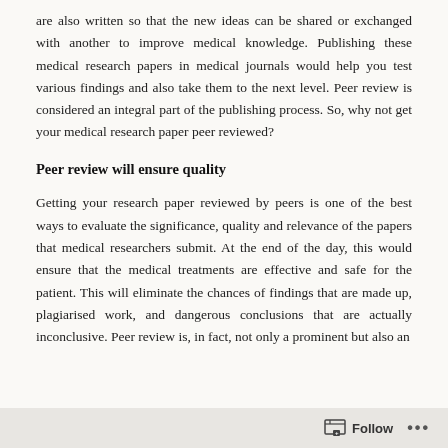are also written so that the new ideas can be shared or exchanged with another to improve medical knowledge. Publishing these medical research papers in medical journals would help you test various findings and also take them to the next level. Peer review is considered an integral part of the publishing process. So, why not get your medical research paper peer reviewed?
Peer review will ensure quality
Getting your research paper reviewed by peers is one of the best ways to evaluate the significance, quality and relevance of the papers that medical researchers submit. At the end of the day, this would ensure that the medical treatments are effective and safe for the patient. This will eliminate the chances of findings that are made up, plagiarised work, and dangerous conclusions that are actually inconclusive. Peer review is, in fact, not only a prominent but also an
Follow ···